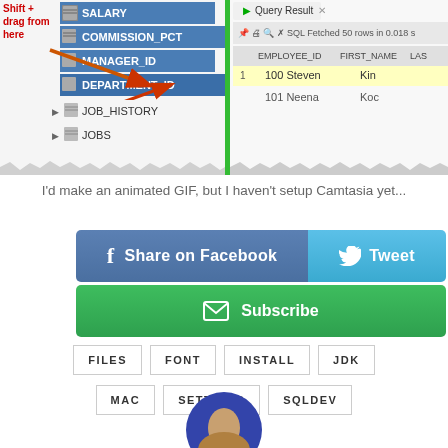[Figure (screenshot): SQL Developer screenshot showing a database table with columns SALARY, COMMISSION_PCT, MANAGER_ID, DEPARTMENT_ID highlighted in blue, JOB_HISTORY, JOBS. Red annotation text 'Shift + drag from here' with an orange arrow pointing to DEPARTMENT_ID. Right side shows Query Result panel with EMPLOYEE_ID, FIRST_NAME columns and rows showing 100 Steven King and 101 Neena Koch. Fetched 50 rows in 0.018s.]
I'd make an animated GIF, but I haven't setup Camtasia yet...
[Figure (infographic): Social sharing buttons: Share on Facebook (dark blue), Tweet (light blue), Subscribe (green with envelope icon)]
FILES
FONT
INSTALL
JDK
MAC
SETTINGS
SQLDEV
[Figure (photo): Circular avatar photo of a person partially visible at the bottom of the page]